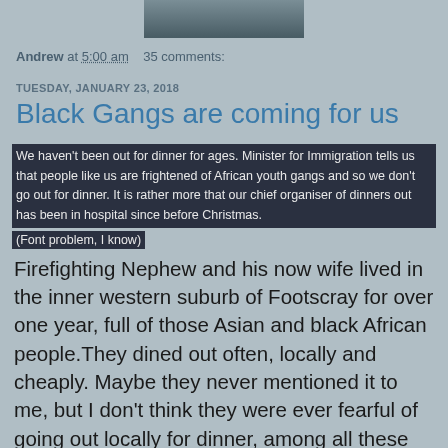[Figure (photo): Partial photo at top of page, cropped showing bottom portion of a person]
Andrew at 5:00 am    35 comments:
TUESDAY, JANUARY 23, 2018
Black Gangs are coming for us
We haven't been out for dinner for ages. Minister for Immigration tells us that people like us are frightened of African youth gangs and so we don't go out for dinner. It is rather more that our chief organiser of dinners out has been in hospital since before Christmas. (Font problem, I know)
Firefighting Nephew and his now wife lived in the inner western suburb of Footscray for over one year, full of those Asian and black African people.They dined out often, locally and cheaply. Maybe they never mentioned it to me, but I don't think they were ever fearful of going out locally for dinner, among all these supposed black African gangs roaming the streets. I am not aware that they had any personal crime problems in Footscray.
I tolerate nonsense by politicians up to a point, but when